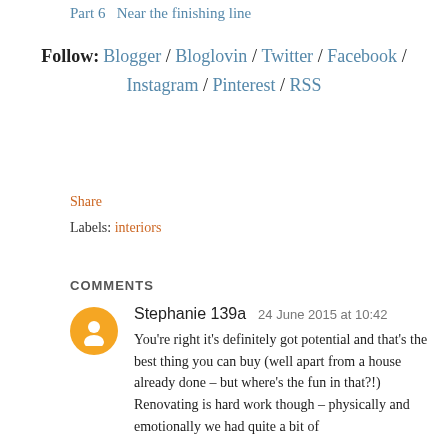Part 6   Near the finishing line
Follow: Blogger / Bloglovin / Twitter / Facebook / Instagram / Pinterest / RSS
Share
Labels: interiors
COMMENTS
Stephanie 139a  24 June 2015 at 10:42
You're right it's definitely got potential and that's the best thing you can buy (well apart from a house already done – but where's the fun in that?!) Renovating is hard work though – physically and emotionally we had quite a bit of